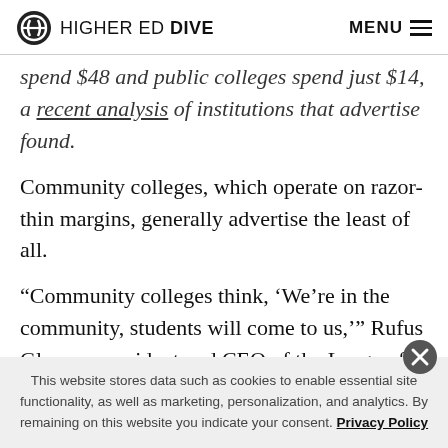HIGHER ED DIVE  MENU
spend $48 and public colleges spend just $14, a recent analysis of institutions that advertise found.
Community colleges, which operate on razor-thin margins, generally advertise the least of all.
“Community colleges think, ‘We’re in the community, students will come to us,’” Rufus Glasper, president and CEO of the League for Innovation in the Community
This website stores data such as cookies to enable essential site functionality, as well as marketing, personalization, and analytics. By remaining on this website you indicate your consent. Privacy Policy